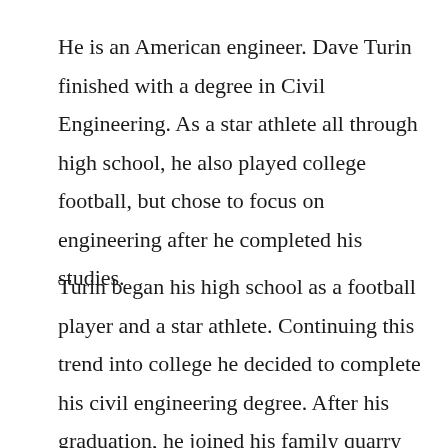He is an American engineer. Dave Turin finished with a degree in Civil Engineering. As a star athlete all through high school, he also played college football, but chose to focus on engineering after he completed his studies.
Turin began his high school as a football player and a star athlete. Continuing this trend into college he decided to complete his civil engineering degree. After his graduation, he joined his family quarry business with his father and three brothers.